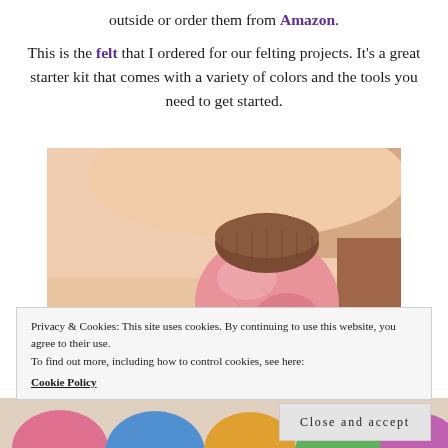outside or order them from Amazon.
This is the felt that I ordered for our felting projects. It's a great starter kit that comes with a variety of colors and the tools you need to get started.
[Figure (photo): Close-up photo of colorful wool felt balls being held in a hand, showing a pink felt ball with a brown acorn cap and a yellow/orange felt ball below it.]
Privacy & Cookies: This site uses cookies. By continuing to use this website, you agree to their use.
To find out more, including how to control cookies, see here:
Cookie Policy
Close and accept